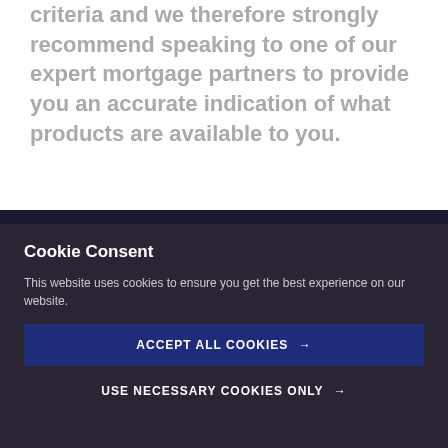criteria and we therefore strongly recommend speaking to one of our expert mortgage partners to provide you an accurate indication of what products are available to you.
Cookie Consent
This website uses cookies to ensure you get the best experience on our website.
ACCEPT ALL COOKIES →
USE NECESSARY COOKIES ONLY →